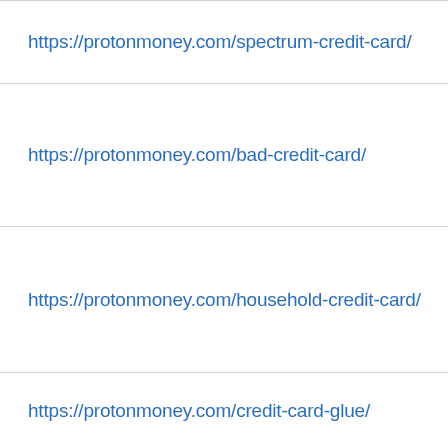https://protonmoney.com/spectrum-credit-card/
https://protonmoney.com/bad-credit-card/
https://protonmoney.com/household-credit-card/
https://protonmoney.com/credit-card-glue/